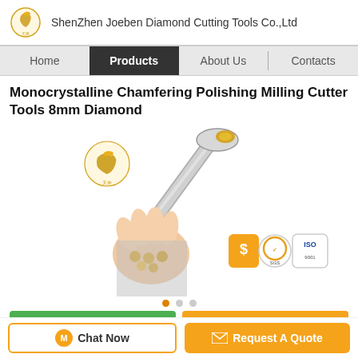ShenZhen Joeben Diamond Cutting Tools Co.,Ltd
Home | Products | About Us | Contacts
Monocrystalline Chamfering Polishing Milling Cutter Tools 8mm Diamond
[Figure (photo): Product photo showing a diamond chamfering milling cutter tool being held in a hand, with small diamond inserts visible. Company logos (SGS, ISO) shown in the bottom right of the image.]
Chat Now | Request A Quote